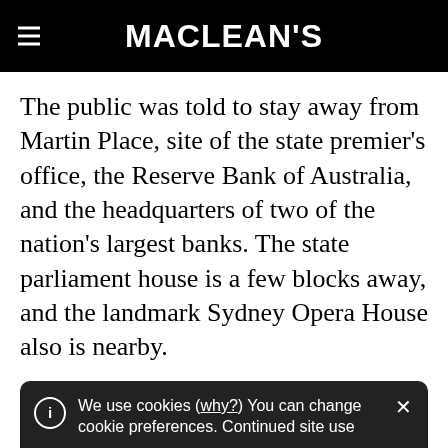MACLEAN'S
The public was told to stay away from Martin Place, site of the state premier's office, the Reserve Bank of Australia, and the headquarters of two of the nation's largest banks. The state parliament house is a few blocks away, and the landmark Sydney Opera House also is nearby.
ADVERTISEMENT
We use cookies (why?) You can change cookie preferences. Continued site use